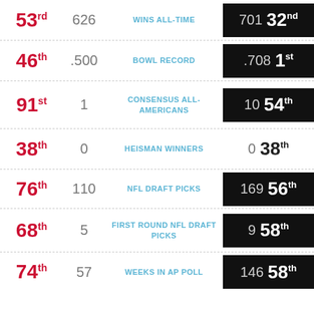| Rank (Left) | Value (Left) | Category | Value (Right) | Rank (Right) |
| --- | --- | --- | --- | --- |
| 53rd | 626 | WINS ALL-TIME | 701 | 32nd |
| 46th | .500 | BOWL RECORD | .708 | 1st |
| 91st | 1 | CONSENSUS ALL-AMERICANS | 10 | 54th |
| 38th | 0 | HEISMAN WINNERS | 0 | 38th |
| 76th | 110 | NFL DRAFT PICKS | 169 | 56th |
| 68th | 5 | FIRST ROUND NFL DRAFT PICKS | 9 | 58th |
| 74th | 57 | WEEKS IN AP POLL | 146 | 58th |